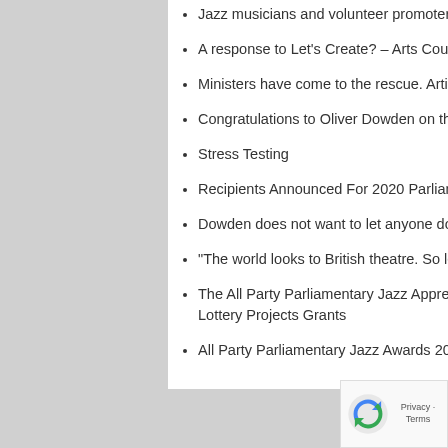Jazz musicians and volunteer promoters – falling between the cracks
A response to Let's Create? – Arts Council England's Strategy 2020-2030
Ministers have come to the rescue. Artists must seize this chance – up to a point Lord Copper
Congratulations to Oliver Dowden on the £1.5 billion rescue package for the arts and culture
Stress Testing
Recipients Announced For 2020 Parliamentary Jazz Awards
Dowden does not want to let anyone down – cue laughter
“The world looks to British theatre. So let’s get it back on track…”
The All Party Parliamentary Jazz Appreciation Group urge Arts Council England to reinstate National Lottery Projects Grants
All Party Parliamentary Jazz Awards 2020 – Nominations Announced